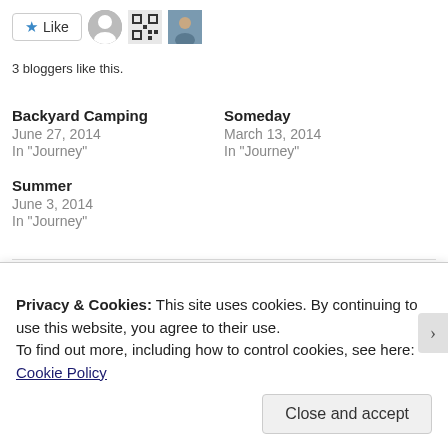[Figure (other): Like button with star icon, followed by three blogger avatar images]
3 bloggers like this.
Backyard Camping
June 27, 2014
In "Journey"
Someday
March 13, 2014
In "Journey"
Summer
June 3, 2014
In "Journey"
PUBLISHED BY
Privacy & Cookies: This site uses cookies. By continuing to use this website, you agree to their use.
To find out more, including how to control cookies, see here: Cookie Policy
Close and accept